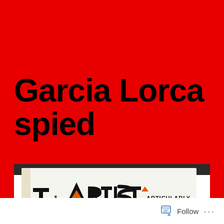Garcia Lorca spied
[Figure (photo): Photo of a book or print showing decorative hand-lettered text reading 'The Artist and particularly the Poet is Always...' with stylized typography in black and orange on white paper, shown at an angle against a dark background.]
Follow ...